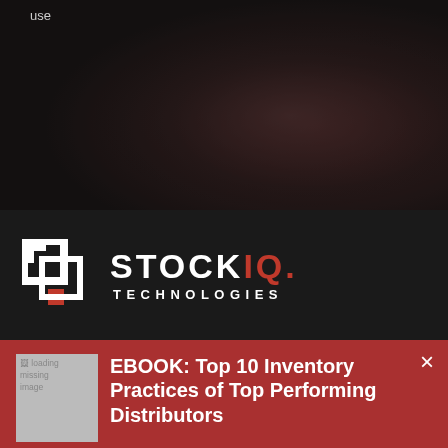use
[Figure (photo): Dark background photo showing a warehouse or industrial/distribution setting with dark reddish tones]
[Figure (logo): Stock IQ Technologies logo — white geometric bracket icon on left, white text STOCK with red IQ and red dot, white TECHNOLOGIES lettering below, on dark/black background]
EBOOK: Top 10 Inventory Practices of Top Performing Distributors
What differentiates high-performing distributors from the rest of the pack? They're implementing these best practices for inventory management.
Download Your FREE eBook